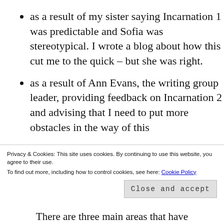as a result of my sister saying Incarnation 1 was predictable and Sofia was stereotypical. I wrote a blog about how this cut me to the quick – but she was right.
as a result of Ann Evans, the writing group leader, providing feedback on Incarnation 2 and advising that I need to put more obstacles in the way of this
Privacy & Cookies: This site uses cookies. By continuing to use this website, you agree to their use.
To find out more, including how to control cookies, see here: Cookie Policy
There are three main areas that have